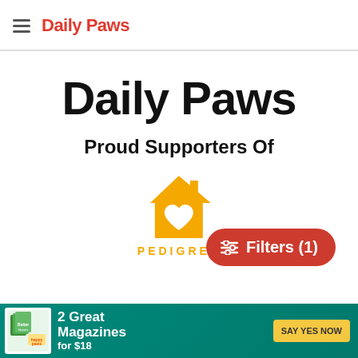Daily Paws
Daily Paws
Proud Supporters Of
[Figure (logo): Pedigree house logo with heart, golden/amber color, and partial PEDIGREE text below]
[Figure (other): Filters (1) button with red rounded pill shape and filter icon]
[Figure (other): Advertisement banner: Better Homes & Gardens + happy paws - 2 Great Magazines for $18 - SAY YES NOW button on teal background]